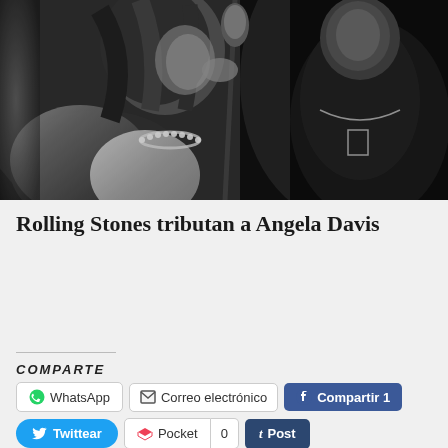[Figure (photo): Black and white photo of two rock musicians on stage, one singing into a microphone with a necklace, another figure on the right wearing a chain necklace against a dark background.]
Rolling Stones tributan a Angela Davis
COMPARTE
WhatsApp
Correo electrónico
Compartir 1
Twittear
Pocket 0
Post
Save 3